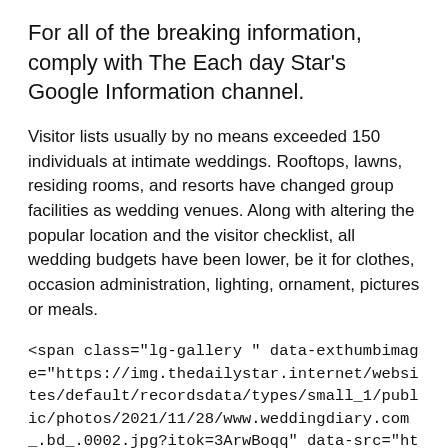For all of the breaking information, comply with The Each day Star's Google Information channel.
Visitor lists usually by no means exceeded 150 individuals at intimate weddings. Rooftops, lawns, residing rooms, and resorts have changed group facilities as wedding venues. Along with altering the popular location and the visitor checklist, all wedding budgets have been lower, be it for clothes, occasion administration, lighting, ornament, pictures or meals.
<span class="lg-gallery " data-exthumbimage="https://img.thedailystar.internet/websites/default/recordsdata/types/small_1/public/photos/2021/11/28/www.weddingdiary.com_.bd_.0002.jpg?itok=3ArwBoqq" data-src="https://img.thedailystar.internet/websites/default/records